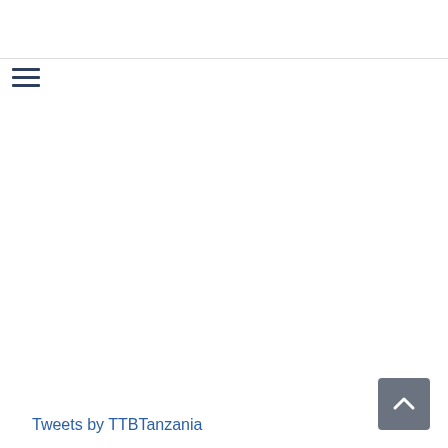[Figure (other): Hamburger menu icon (three horizontal lines) in dark navy color]
Tweets by TTBTanzania
[Figure (other): Back to top button — grey square with white chevron/caret pointing upward]